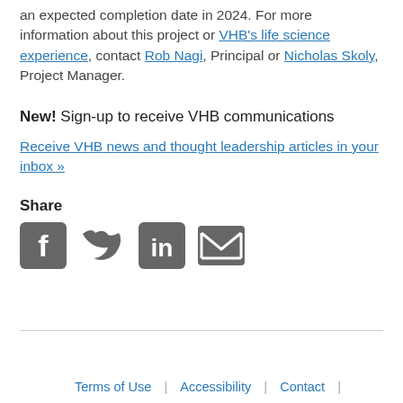an expected completion date in 2024. For more information about this project or VHB's life science experience, contact Rob Nagi, Principal or Nicholas Skoly, Project Manager.
New! Sign-up to receive VHB communications
Receive VHB news and thought leadership articles in your inbox »
Share
[Figure (infographic): Four social media share icons: Facebook, Twitter, LinkedIn, and Email (envelope)]
Terms of Use | Accessibility | Contact |